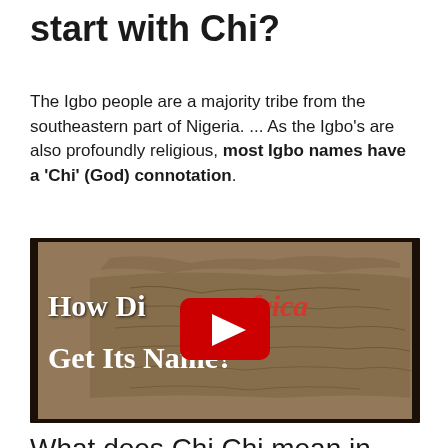start with Chi?
The Igbo people are a majority tribe from the southeastern part of Nigeria. ... As the Igbo's are also profoundly religious, most Igbo names have a 'Chi' (God) connotation.
[Figure (screenshot): YouTube video thumbnail showing an old map of Africa with the text 'How Did Africa Get Its Name?' overlaid, with a YouTube play button in the center.]
What does Chi Chi mean in Nigerian?